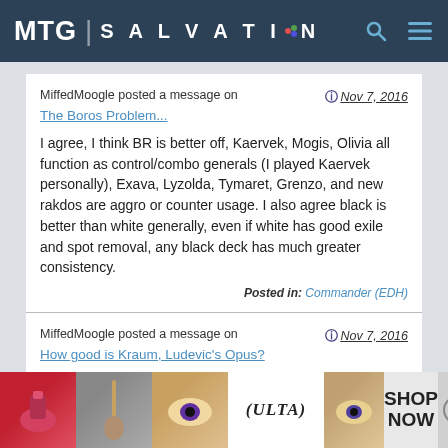[Figure (screenshot): MTG Salvation website header with dark blue background, logo reading 'MTG | SALVATION', search icon and hamburger menu icon on the right]
MiffedMoogle posted a message on
Nov 7, 2016
The Boros Problem...
I agree, I think BR is better off, Kaervek, Mogis, Olivia all function as control/combo generals (I played Kaervek personally), Exava, Lyzolda, Tymaret, Grenzo, and new rakdos are aggro or counter usage. I also agree black is better than white generally, even if white has good exile and spot removal, any black deck has much greater consistency.
Posted in: Commander (EDH)
MiffedMoogle posted a message on
Nov 7, 2016
How good is Kraum, Ludevic's Opus?
[Figure (screenshot): Advertisement banner for ULTA beauty showing makeup images, ULTA logo, and SHOP NOW button with close X button]